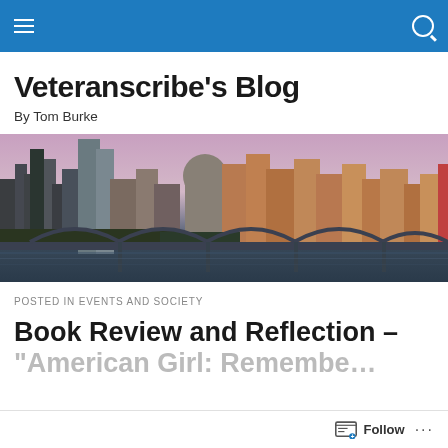Veteranscribe's Blog — navigation bar
Veteranscribe's Blog
By Tom Burke
[Figure (photo): City skyline at dusk with a bridge in the foreground and tall buildings lit up with warm light against a purple-pink sky, reflected near a river.]
POSTED IN EVENTS AND SOCIETY
Book Review and Reflection –
American Girl: Remembe…